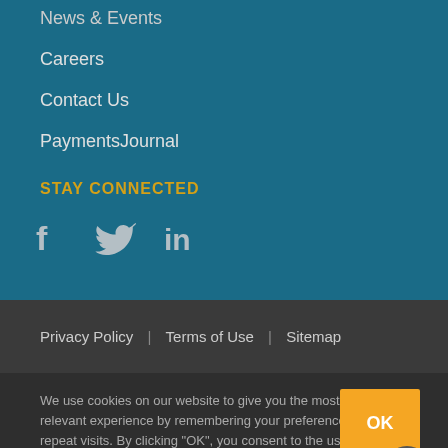News & Events
Careers
Contact Us
PaymentsJournal
STAY CONNECTED
[Figure (infographic): Social media icons: Facebook, Twitter, LinkedIn]
Privacy Policy | Terms of Use | Sitemap
We use cookies on our website to give you the most relevant experience by remembering your preferences and repeat visits. By clicking "OK", you consent to the use of ALL the cookies.